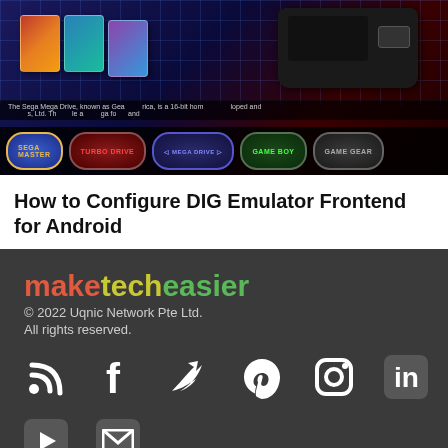[Figure (screenshot): Screenshot of DIG Emulator Frontend for Android showing game covers, Sega Mega Drive console, and navigation buttons for Sega Master, Turbo Drive, Mega Drive, Game Boy, and Game Gear]
How to Configure DIG Emulator Frontend for Android
[Figure (logo): maketecheasier logo in three colors: make (red), tech (yellow-green), easier (green)]
© 2022 Uqnic Network Pte Ltd.
All rights reserved.
[Figure (infographic): Social media icons: RSS feed, Facebook, Twitter, Pinterest, Instagram, LinkedIn, YouTube, Email]